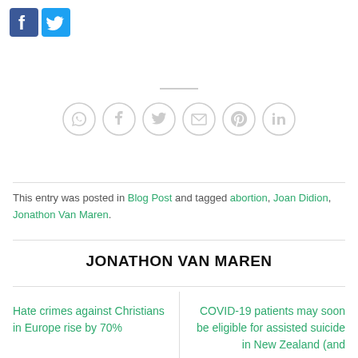[Figure (logo): Facebook and Twitter social media icon buttons in blue]
[Figure (infographic): Six circular share buttons: WhatsApp, Facebook, Twitter, Email, Pinterest, LinkedIn]
This entry was posted in Blog Post and tagged abortion, Joan Didion, Jonathon Van Maren.
JONATHON VAN MAREN
Hate crimes against Christians in Europe rise by 70%
COVID-19 patients may soon be eligible for assisted suicide in New Zealand (and